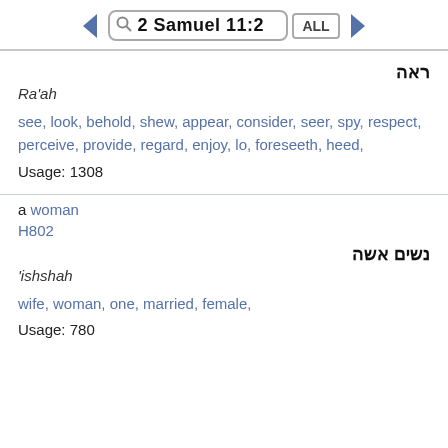2 Samuel 11:2
ראה
Ra'ah
see, look, behold, shew, appear, consider, seer, spy, respect, perceive, provide, regard, enjoy, lo, foreseeth, heed,
Usage: 1308
a woman
H802
נשים אשה
'ishshah
wife, woman, one, married, female,
Usage: 780